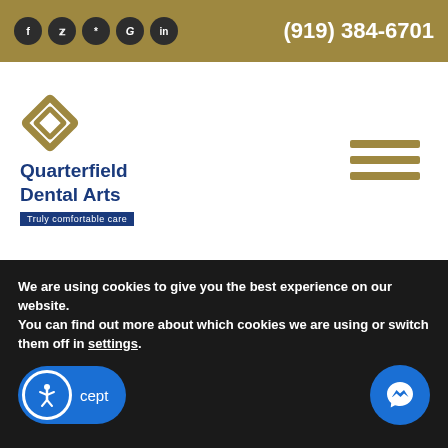(919) 384-6701
[Figure (logo): Quarterfield Dental Arts logo with diamond shape and tagline 'Truly comfortable care']
Magnesium, Copper, Manganese and a few other minerals.
A 100-gram bar of dark chocolate with 70-85% cocoa contains:
11 grams of fiber
67% Iron
58% Magnesium
We are using cookies to give you the best experience on our website.
You can find out more about which cookies we are using or switch them off in settings.